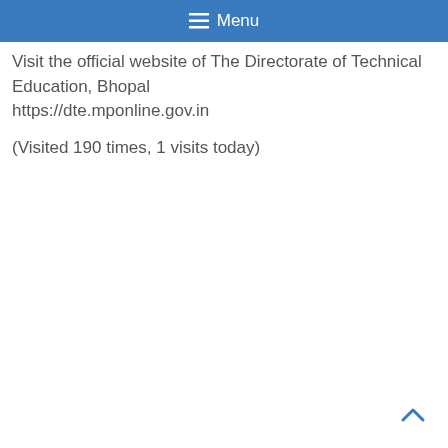Menu
Visit the official website of The Directorate of Technical Education, Bhopal https://dte.mponline.gov.in
(Visited 190 times, 1 visits today)